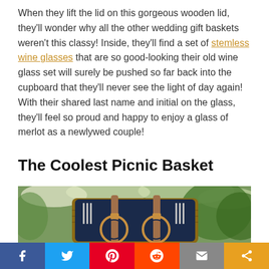When they lift the lid on this gorgeous wooden lid, they'll wonder why all the other wedding gift baskets weren't this classy! Inside, they'll find a set of stemless wine glasses that are so good-looking their old wine glass set will surely be pushed so far back into the cupboard that they'll never see the light of day again! With their shared last name and initial on the glass, they'll feel so proud and happy to enjoy a glass of merlot as a newlywed couple!
The Coolest Picnic Basket
[Figure (photo): An open wicker picnic basket displaying utensils and plate holders with leather straps, set against a green garden background.]
Social share bar: Facebook, Twitter, Pinterest, Reddit, Email, Share